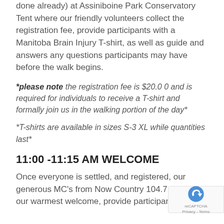done already) at Assiniboine Park Conservatory Tent where our friendly volunteers collect the registration fee, provide participants with a Manitoba Brain Injury T-shirt, as well as guide and answers any questions participants may have before the walk begins.
*please note the registration fee is $20.0 0 and is required for individuals to receive a T-shirt and formally join us in the walking portion of the day*
*T-shirts are available in sizes S-3 XL while quantities last*
11:00 -11:15 AM WELCOME
Once everyone is settled, and registered, our generous MC's from Now Country 104.7 will offer our warmest welcome, provide participants with